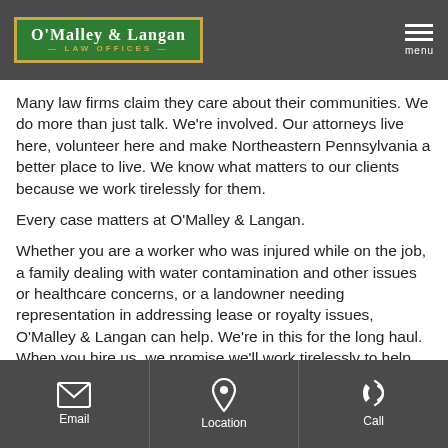O'Malley & Langan Law Offices — menu
Many law firms claim they care about their communities. We do more than just talk. We're involved. Our attorneys live here, volunteer here and make Northeastern Pennsylvania a better place to live. We know what matters to our clients because we work tirelessly for them.
Every case matters at O'Malley & Langan.
Whether you are a worker who was injured while on the job, a family dealing with water contamination and other issues or healthcare concerns, or a landowner needing representation in addressing lease or royalty issues, O'Malley & Langan can help. We're in this for the long haul. When you hire us, we promise we'll work tirelessly to help you make things right.
Email | Location | Call